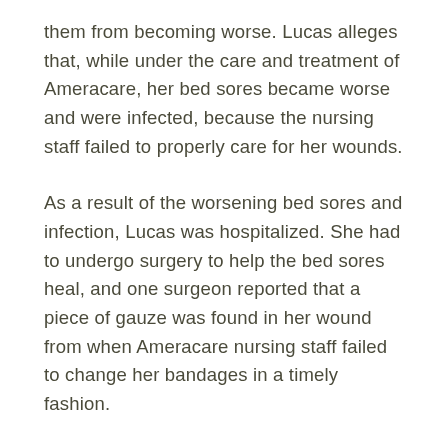them from becoming worse. Lucas alleges that, while under the care and treatment of Ameracare, her bed sores became worse and were infected, because the nursing staff failed to properly care for her wounds.
As a result of the worsening bed sores and infection, Lucas was hospitalized. She had to undergo surgery to help the bed sores heal, and one surgeon reported that a piece of gauze was found in her wound from when Ameracare nursing staff failed to change her bandages in a timely fashion.
Lucas is suing the home health agency for medical